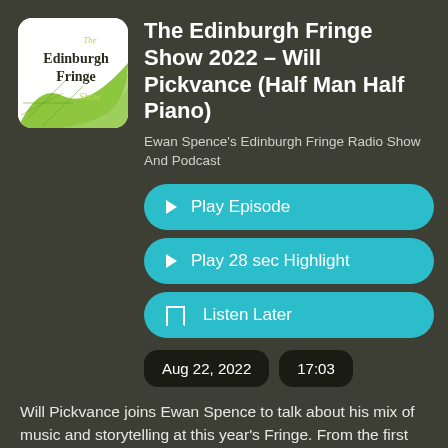[Figure (logo): The Edinburgh Fringe Show podcast logo — white square with green decorative wave/grid in bottom-left corner and text 'The Edinburgh Fringe Show' in dark and yellow-green lettering]
The Edinburgh Fringe Show 2022 – Will Pickvance (Half Man Half Piano)
Ewan Spence's Edinburgh Fringe Radio Show And Podcast
▶ Play Episode
▶ Play 28 sec Highlight
🔖 Listen Later
Aug 22, 2022
17:03
Will Pickvance joins Ewan Spence to talk about his mix of music and storytelling at this year's Fringe. From the first moments of being already on stage and